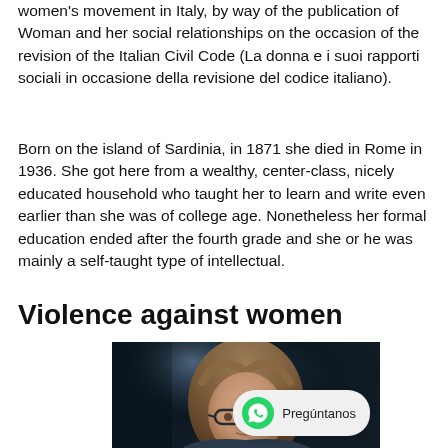women's movement in Italy, by way of the publication of Woman and her social relationships on the occasion of the revision of the Italian Civil Code (La donna e i suoi rapporti sociali in occasione della revisione del codice italiano).
Born on the island of Sardinia, in 1871 she died in Rome in 1936. She got here from a wealthy, center-class, nicely educated household who taught her to learn and write even earlier than she was of college age. Nonetheless her formal education ended after the fourth grade and she or he was mainly a self-taught type of intellectual.
Violence against women
[Figure (photo): A young woman with long hair and glasses, photographed in a dark environment with a bluish background light. A WhatsApp chat bubble appears in the lower right with 'Pregúntanos'.]